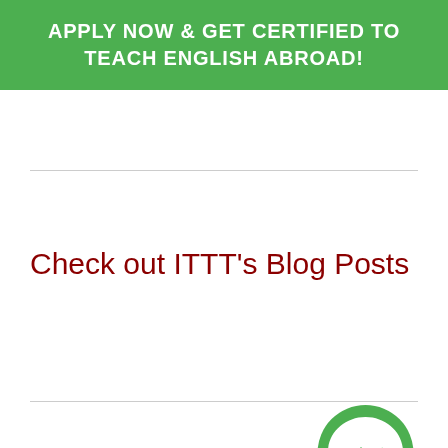APPLY NOW & GET CERTIFIED TO TEACH ENGLISH ABROAD!
Check out ITTT's Blog Posts
;